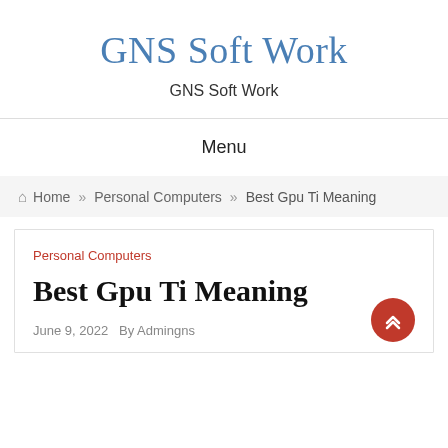GNS Soft Work
GNS Soft Work
Menu
Home » Personal Computers » Best Gpu Ti Meaning
Personal Computers
Best Gpu Ti Meaning
June 9, 2022   By Admingns